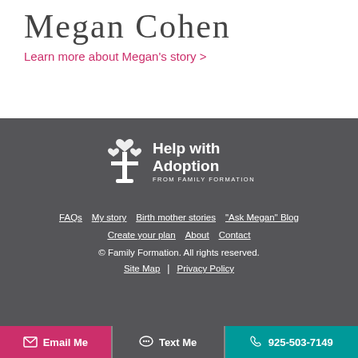Megan Cohen
Learn more about Megan's story >
[Figure (logo): Help with Adoption from Family Formation logo — white tree icon with hearts and a cross-like trunk, text 'Help with Adoption FROM FAMILY FORMATION' in white on dark background]
FAQs   My story   Birth mother stories   "Ask Megan" Blog   Create your plan   About   Contact   © Family Formation. All rights reserved.   Site Map | Privacy Policy   Email Me   Text Me   925-503-7149